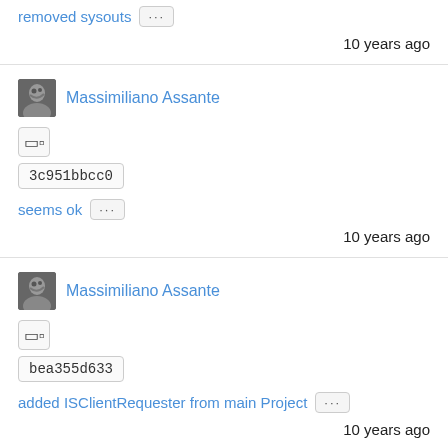removed sysouts
10 years ago
Massimiliano Assante
3c951bbcc0
seems ok
10 years ago
Massimiliano Assante
bea355d633
added ISClientRequester from main Project
10 years ago